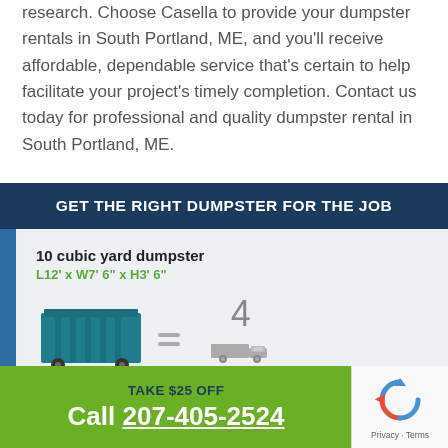research. Choose Casella to provide your dumpster rentals in South Portland, ME, and you'll receive affordable, dependable service that's certain to help facilitate your project's timely completion. Contact us today for professional and quality dumpster rental in South Portland, ME.
[Figure (infographic): GET THE RIGHT DUMPSTER FOR THE JOB infographic showing 10 cubic yard dumpster (L12' x W7' 6" x H3' 6") equals 4 Pickup truck loads, with blue dumpster illustration and grey truck icon]
TAKE $25 OFF
Call 207-405-2524